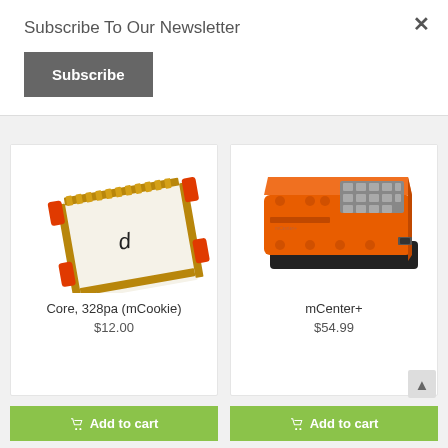Subscribe To Our Newsletter
Subscribe
[Figure (photo): Orange and black microcontroller board labeled Core 328pa (mCookie), showing gold-plated pins arranged in a square with red bracket connectors on the edges.]
Core, 328pa (mCookie)
$12.00
[Figure (photo): Orange rectangular mCenter+ module with a grid of metallic connectors on top, USB port, and black base, shown at an angle.]
mCenter+
$54.99
Add to cart
Add to cart